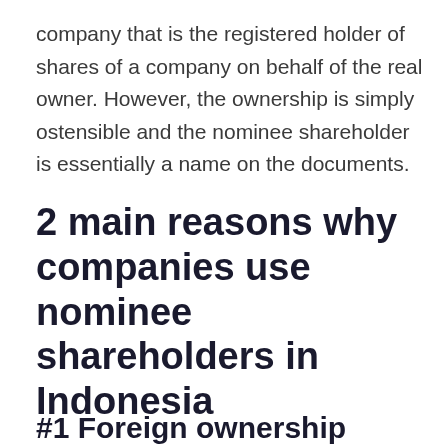company that is the registered holder of shares of a company on behalf of the real owner. However, the ownership is simply ostensible and the nominee shareholder is essentially a name on the documents.
2 main reasons why companies use nominee shareholders in Indonesia
#1 Foreign ownership